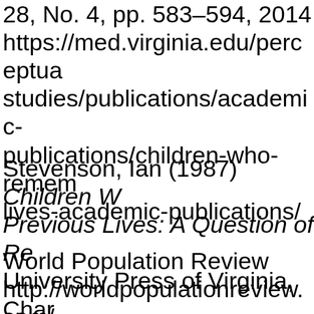28, No. 4, pp. 583–594, 2014 https://med.virginia.edu/perceptual-studies/publications/academic-publications/children-who-remember-lives-academic-publications/
Stevenson, Ian (1987) Children Who Remember Previous Lives: A Question of Reincarnation. University Press of Virginia, Charlottesville.
World Population Review http://worldpopulationreview.com/countries/http://worldpopulationre...